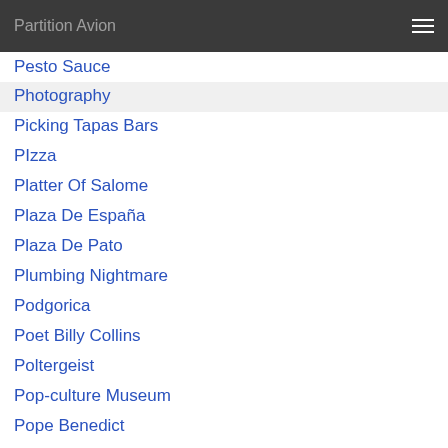Partition Avion
Pesto Sauce
Photography
Picking Tapas Bars
PIzza
Platter Of Salome
Plaza De España
Plaza De Pato
Plumbing Nightmare
Podgorica
Poet Billy Collins
Poltergeist
Pop-culture Museum
Pope Benedict
Pop-up Restaurants
Post-pandemic Predictions
Post-pandemic Travel
Prague
Predictions